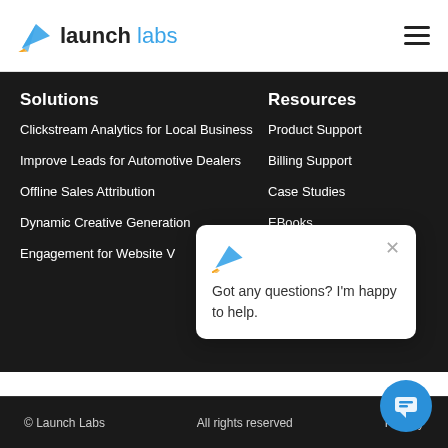[Figure (logo): Launch Labs logo with paper plane icon and wordmark: 'launch labs' in dark and blue text]
Solutions
Resources
Clickstream Analytics for Local Business
Product Support
Improve Leads for Automotive Dealers
Billing Support
Offline Sales Attribution
Case Studies
Dynamic Creative Generation
EBooks
Engagement for Website V...
Got any questions? I'm happy to help.
© Launch Labs    All rights reserved    Privacy